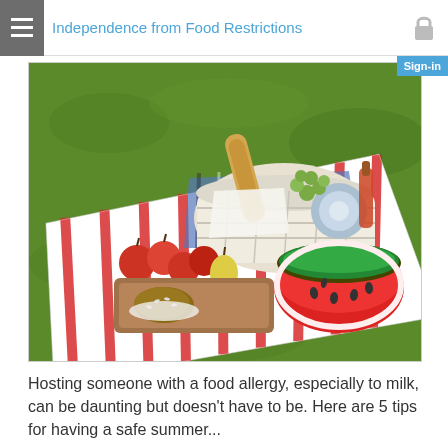Independence from Food Restrictions
[Figure (photo): A picnic scene on green grass with a red and white striped blanket, a white wicker basket filled with food including a baguette and grapes, apples, bread rolls, and a sliced watermelon on a wooden cutting board.]
Hosting someone with a food allergy, especially to milk, can be daunting but doesn't have to be.  Here are 5 tips for having a safe summer...